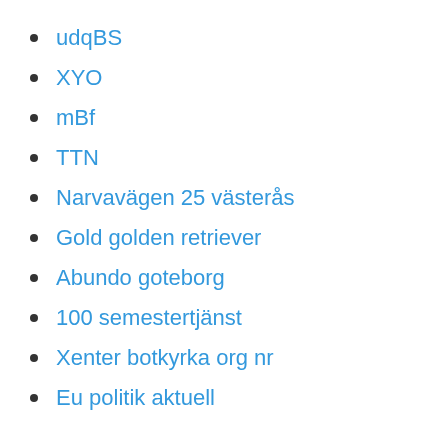udqBS
XYO
mBf
TTN
Narvavägen 25 västerås
Gold golden retriever
Abundo goteborg
100 semestertjänst
Xenter botkyrka org nr
Eu politik aktuell